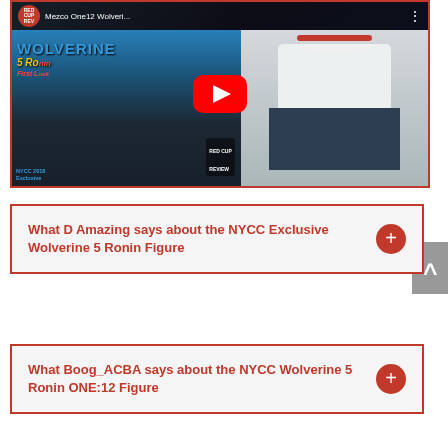[Figure (screenshot): YouTube video thumbnail for 'Mezco One12 Wolveri...' from Red Cup Review channel. Shows a YouTube play button overlay on a thumbnail with Wolverine themed imagery and text. Has channel icon, video title, and three-dot menu in top bar.]
What D Amazing says about the NYCC Exclusive Wolverine 5 Ronin Figure
What Boog_ACBA says about the NYCC Wolverine 5 Ronin ONE:12 Figure